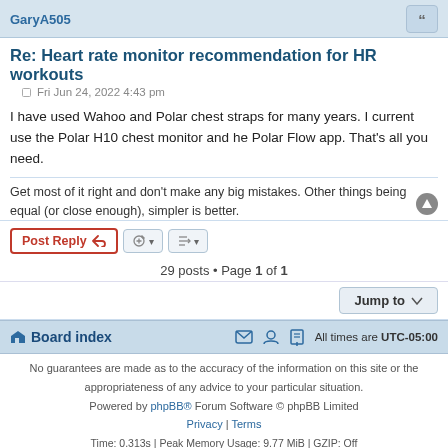GaryA505
Re: Heart rate monitor recommendation for HR workouts
Fri Jun 24, 2022 4:43 pm
I have used Wahoo and Polar chest straps for many years. I current use the Polar H10 chest monitor and he Polar Flow app. That's all you need.
Get most of it right and don't make any big mistakes. Other things being equal (or close enough), simpler is better.
29 posts • Page 1 of 1
Jump to
Board index
All times are UTC-05:00
No guarantees are made as to the accuracy of the information on this site or the appropriateness of any advice to your particular situation.
Powered by phpBB® Forum Software © phpBB Limited
Privacy | Terms
Time: 0.313s | Peak Memory Usage: 9.77 MiB | GZIP: Off